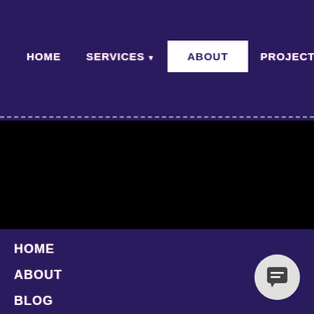HOME | SERVICES | ABOUT | PROJECT | PRODUCTS
[Figure (screenshot): Black video/image area with dashed white line at top border]
HOME
ABOUT
BLOG
DRY DOCKS
PROJECT
PROCESS